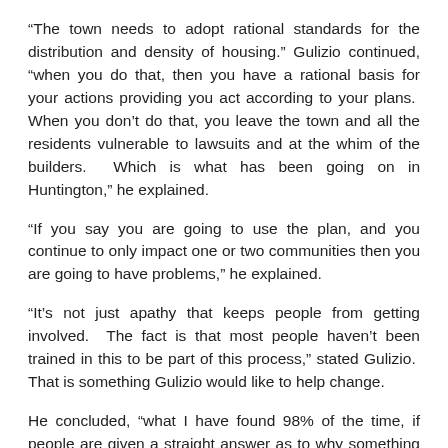“The town needs to adopt rational standards for the distribution and density of housing.” Gulizio continued, “when you do that, then you have a rational basis for your actions providing you act according to your plans.  When you don’t do that, you leave the town and all the residents vulnerable to lawsuits and at the whim of the builders.  Which is what has been going on in Huntington,” he explained.
“If you say you are going to use the plan, and you continue to only impact one or two communities then you are going to have problems,” he explained.
“It’s not just apathy that keeps people from getting involved.  The fact is that most people haven’t been trained in this to be part of this process,” stated Gulizio.  That is something Gulizio would like to help change.
He concluded, “what I have found 98% of the time, if people are given a straight answer as to why something is a good thing or a bad thing from an objective land use standpoint, even if they don’t like it, generally they are reasonable in their